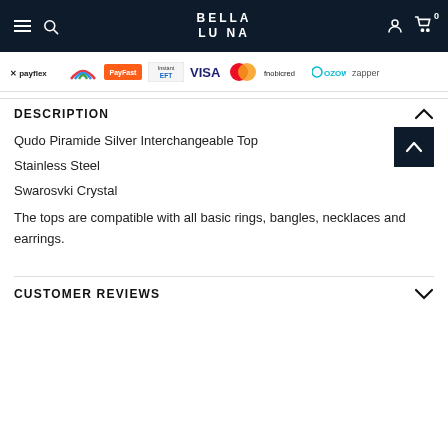BELLA LUNA
[Figure (logo): Payment method logos: payflex, PayJustNow, PayFast, Instant EFT, VISA, Mastercard, fnobicred, OZOW, zapper]
DESCRIPTION
Qudo Piramide Silver Interchangeable Top
Stainless Steel
Swarosvki Crystal
The tops are compatible with all basic rings, bangles, necklaces and earrings.
CUSTOMER REVIEWS